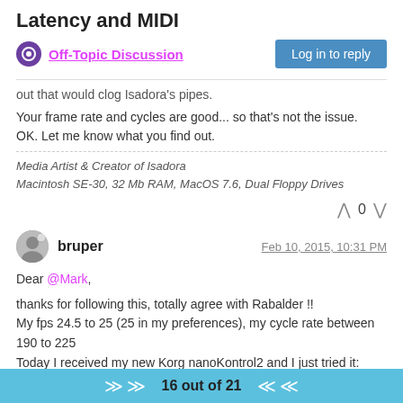Latency and MIDI
Off-Topic Discussion
out that would clog Isadora's pipes.
Your frame rate and cycles are good... so that's not the issue.
OK. Let me know what you find out.
Media Artist & Creator of Isadora
Macintosh SE-30, 32 Mb RAM, MacOS 7.6, Dual Floppy Drives
0
bruper  Feb 10, 2015, 10:31 PM
Dear @Mark,

thanks for following this, totally agree with Rabalder !!
My fps 24.5 to 25 (25 in my preferences), my cycle rate between 190 to 225
Today I received my new Korg nanoKontrol2 and I just tried it:
16 out of 21